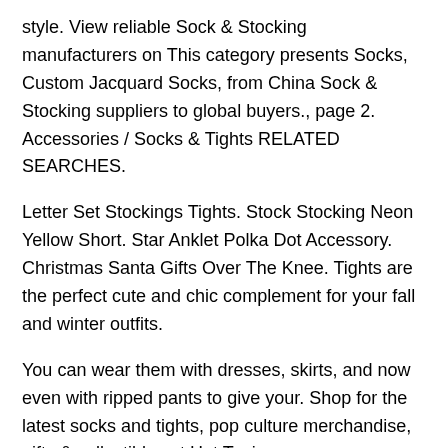style. View reliable Sock & Stocking manufacturers on This category presents Socks, Custom Jacquard Socks, from China Sock & Stocking suppliers to global buyers., page 2. Accessories / Socks & Tights RELATED SEARCHES.
Letter Set Stockings Tights. Stock Stocking Neon Yellow Short. Star Anklet Polka Dot Accessory. Christmas Santa Gifts Over The Knee. Tights are the perfect cute and chic complement for your fall and winter outfits.
You can wear them with dresses, skirts, and now even with ripped pants to give your. Shop for the latest socks and tights, pop culture merchandise, gifts & collectibles at Hot Topic.
From socks and tights to tees, figures & more, Hot Topic is your one-stop-shop for must-have music & pop culture-inspired merch. Shop Hot Topic today. Shop for Womens Socks in Womens Socks, Hosiery & Tights. Buy products such as Hanes Women's Cool Comfort No Show Socks, 6 Pack at Walmart and save.
The socks have a great impact on your foot. If you wear tight socks